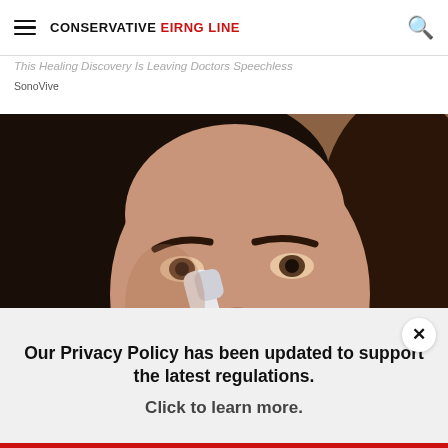CONSERVATIVE EIRNG LINE
This Healing Discovery Is Leaving Doctors Speechless
SonoVive
[Figure (photo): Close-up photo of a woman with dark hair applying a white roller or device to her nose area]
Our Privacy Policy has been updated to support the latest regulations. Click to learn more.